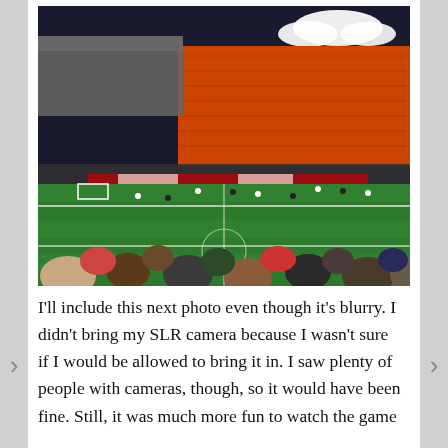[Figure (photo): A nighttime soccer match viewed from the stands. The foreground shows spectators seated in the lower section. The green grass field is visible with players in white and dark uniforms. The opposite stand has orange seats, partially filled. Stadium lights illuminate the scene. The sky is dark with a cloud visible.]
I'll include this next photo even though it's blurry. I didn't bring my SLR camera because I wasn't sure if I would be allowed to bring it in. I saw plenty of people with cameras, though, so it would have been fine. Still, it was much more fun to watch the game